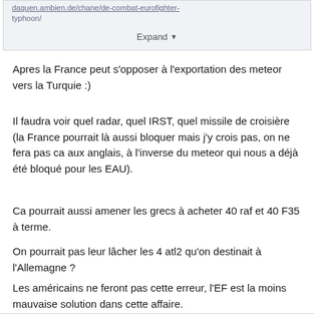[Figure (screenshot): Collapsed content box with URL text and Expand button]
Apres la France peut s'opposer à l'exportation des meteor vers la Turquie :)
Il faudra voir quel radar, quel IRST, quel missile de croisière (la France pourrait là aussi bloquer mais j'y crois pas, on ne fera pas ca aux anglais, à l'inverse du meteor qui nous a déjà été bloqué pour les EAU).
Ca pourrait aussi amener les grecs à acheter 40 raf et 40 F35 à terme.
On pourrait pas leur lâcher les 4 atl2 qu'on destinait à l'Allemagne ?
Les américains ne feront pas cette erreur, l'EF est la moins mauvaise solution dans cette affaire.